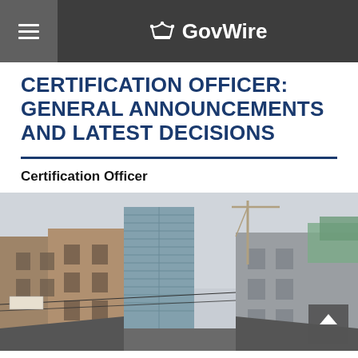GovWire
CERTIFICATION OFFICER: GENERAL ANNOUNCEMENTS AND LATEST DECISIONS
Certification Officer
[Figure (photo): Street-level photograph of London city buildings including a tall modern glass skyscraper flanked by historic stone buildings, with a crane visible in the background under an overcast sky.]